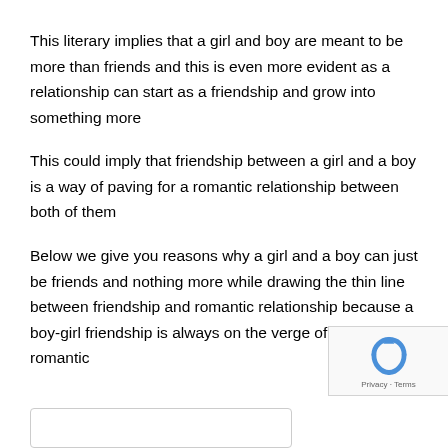This literary implies that a girl and boy are meant to be more than friends and this is even more evident as a relationship can start as a friendship and grow into something more
This could imply that friendship between a girl and a boy is a way of paving for a romantic relationship between both of them
Below we give you reasons why a girl and a boy can just be friends and nothing more while drawing the thin line between friendship and romantic relationship because a boy-girl friendship is always on the verge of becoming romantic